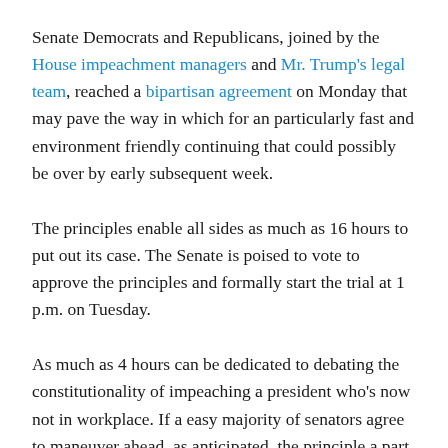Senate Democrats and Republicans, joined by the House impeachment managers and Mr. Trump's legal team, reached a bipartisan agreement on Monday that may pave the way in which for an particularly fast and environment friendly continuing that could possibly be over by early subsequent week.
The principles enable all sides as much as 16 hours to put out its case. The Senate is poised to vote to approve the principles and formally start the trial at 1 p.m. on Tuesday.
As much as 4 hours can be dedicated to debating the constitutionality of impeaching a president who's now not in workplace. If a easy majority of senators agree to maneuver ahead, as anticipated, the principle a part of the trial begins.
Beginning Wednesday, the prosecution and the protection can